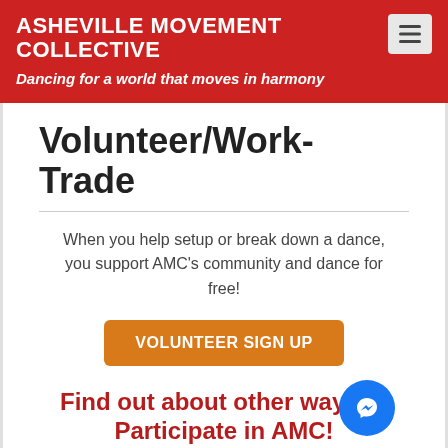ASHEVILLE MOVEMENT COLLECTIVE
Dancing for a world that moves in harmony
Volunteer/Work-Trade
When you help setup or break down a dance, you support AMC's community and dance for free!
VOLUNTEER SIGN UP
Find out about other ways to Participate in AMC!